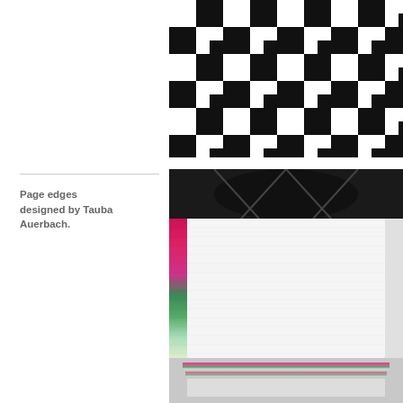[Figure (photo): Close-up photo of a bold black and white houndstooth pattern filling the upper right portion of the page.]
Page edges designed by Tauba Auerbach.
[Figure (photo): Close-up photo of a stack of book pages showing colorful page edges with a gradient from pink/magenta to green, with a dark cover visible at the top.]